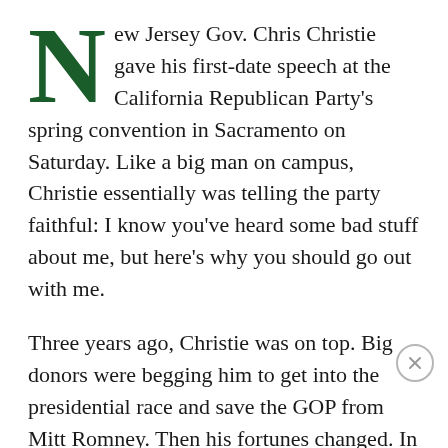New Jersey Gov. Chris Christie gave his first-date speech at the California Republican Party's spring convention in Sacramento on Saturday. Like a big man on campus, Christie essentially was telling the party faithful: I know you've heard some bad stuff about me, but here's why you should go out with me.
Three years ago, Christie was on top. Big donors were begging him to get into the presidential race and save the GOP from Mitt Romney. Then his fortunes changed. In October 2012, Hurricane Sandy battered Jersey shores, and a grateful governor bear-hugged President Barack Obama, who offered federal aid. The GOP base shrieked. In